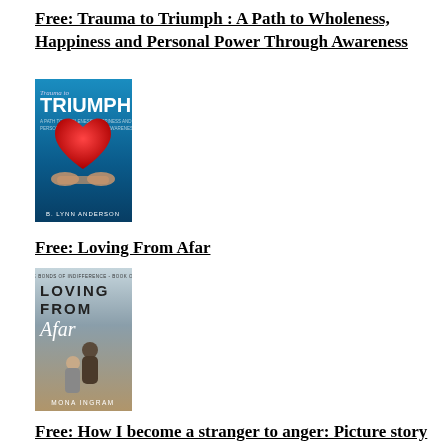Free: Trauma to Triumph : A Path to Wholeness, Happiness and Personal Power Through Awareness
[Figure (illustration): Book cover for 'Trauma to Triumph' by B. Lynn Anderson. Blue gradient background with white bold title text 'Trauma to Triumph' and a red heart held in hands at the bottom.]
Free: Loving From Afar
[Figure (illustration): Book cover for 'Loving From Afar' by Mona Ingram. Shows a couple, series title at top, bold uppercase 'LOVING FROM' and italic 'Afar' text.]
Free: How I become a stranger to anger: Picture story about anger management for early age children that helps cool down early age anger (child tantrum self